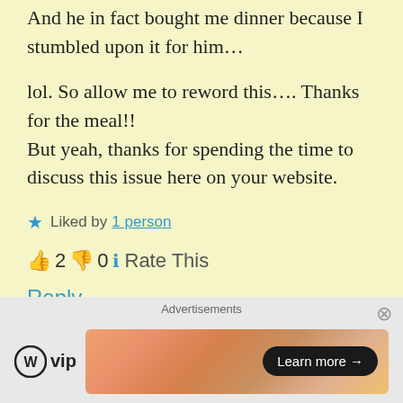And he in fact bought me dinner because I stumbled upon it for him…
lol. So allow me to reword this…. Thanks for the meal!!
But yeah, thanks for spending the time to discuss this issue here on your website.
★ Liked by 1 person
👍 2 👎 0 ℹ Rate This
Reply
Advertisements | WPvip | Learn more →